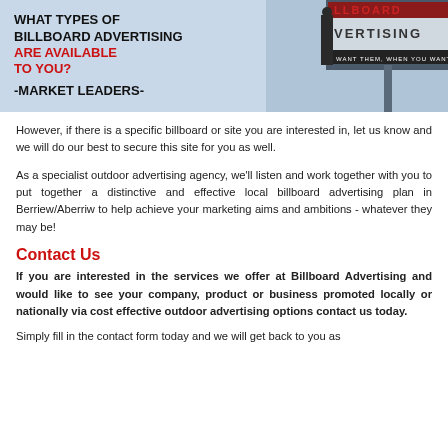[Figure (infographic): Banner image with text overlay on light blue background and a billboard photo on the right. Text reads: WHAT TYPES OF BILLBOARD ADVERTISING ARE AVAILABLE TO YOU? -MARKET LEADERS-. Right side shows a billboard with text VERTISING and WANT THEM, WHEN YOU WANT.]
However, if there is a specific billboard or site you are interested in, let us know and we will do our best to secure this site for you as well.
As a specialist outdoor advertising agency, we'll listen and work together with you to put together a distinctive and effective local billboard advertising plan in Berriew/Aberriw to help achieve your marketing aims and ambitions - whatever they may be!
Contact Us
If you are interested in the services we offer at Billboard Advertising and would like to see your company, product or business promoted locally or nationally via cost effective outdoor advertising options contact us today.
Simply fill in the contact form today and we will get back to you as